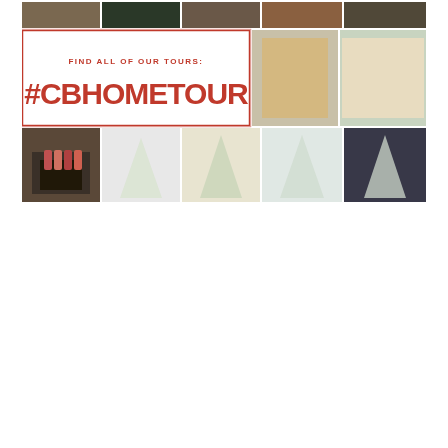[Figure (infographic): A collage of Christmas home tour photos arranged in a grid. The top row shows 5 holiday-decorated home interior photos. The middle section has a red-bordered white box on the left with text 'FIND ALL OF OUR TOURS: #CBHOMETOUR' in red, and two holiday home photos on the right. The bottom row shows 5 photos of decorated Christmas trees and holiday living rooms.]